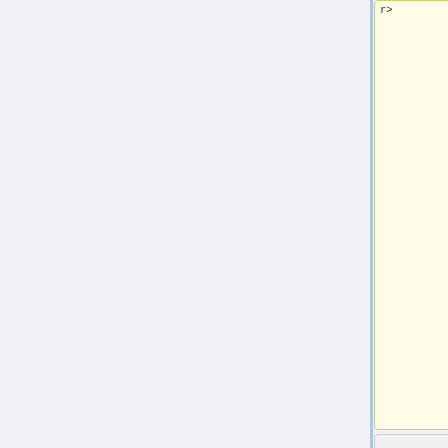r>
Oriented Transfer Function Design for Multivariate Volume Visualization'''<br>
|}'''Ort:''' Seminarraum 1.079 im ICP, Allmandring 3<br>'''Zeit:''' 16:00 Uhr<br>
|}'''Ort:''' Seminarraum 1.079 im ICP, Allmandring 3<br>'''Zeit:''' 16:00 Uhr<br>
Line 204:
Line 227:
'''[[Media:s
'''[[Media:s